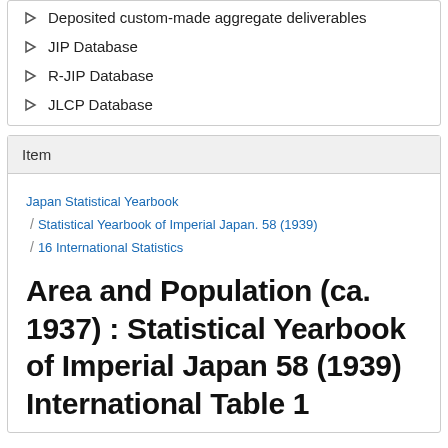Deposited custom-made aggregate deliverables
JIP Database
R-JIP Database
JLCP Database
Item
Japan Statistical Yearbook / Statistical Yearbook of Imperial Japan. 58 (1939) / 16 International Statistics
Area and Population (ca. 1937) : Statistical Yearbook of Imperial Japan 58 (1939) International Table 1